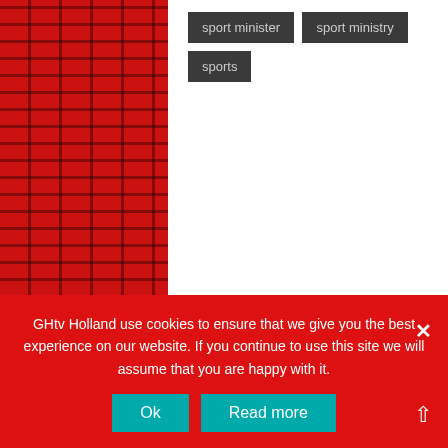sport minister
sport ministry
sports
Recent Posts
Military officer arrested over A&C Mall New Year shooting (video)
GHtv Holland use cookies to ensure that we give you the best experience on our website. If you continue to use this site we will assume that you are happy with it.